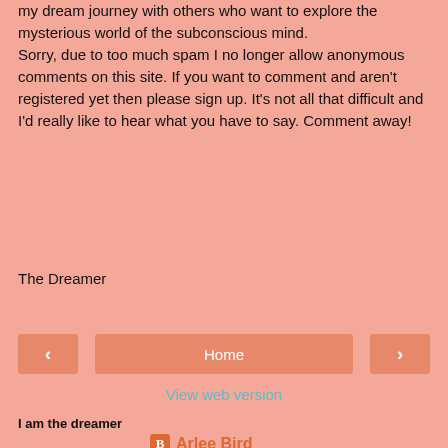my dream journey with others who want to explore the mysterious world of the subconscious mind.
Sorry, due to too much spam I no longer allow anonymous comments on this site. If you want to comment and aren't registered yet then please sign up. It's not all that difficult and I'd really like to hear what you have to say. Comment away!
The Dreamer
[Figure (other): Navigation row with left arrow button, Home button, and right arrow button]
View web version
I am the dreamer
[Figure (photo): Photo of Arlee Bird wearing a white hat and sunglasses]
Arlee Bird
A juggler of words and phrases. My main blog is Tossing It Out. The focus blog for the Blogging from A to Z April Challenge can now be found at a-to-